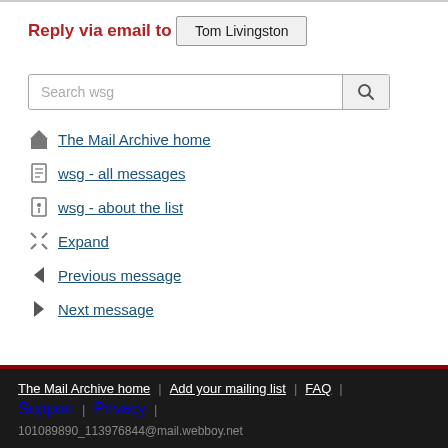Reply via email to
Tom Livingston
[Figure (other): Search box with placeholder 'Search wsg' and a search button]
The Mail Archive home
wsg - all messages
wsg - about the list
Expand
Previous message
Next message
The Mail Archive home | Add your mailing list | FAQ | Support | Privacy | 101089890_113976844@mail.webboy.net